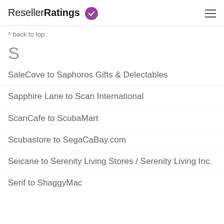ResellerRatings
^ back to top
S
SaleCove to Saphoros Gifts & Delectables
Sapphire Lane to Scan International
ScanCafe to ScubaMart
Scubastore to SegaCaBay.com
Seicane to Serenity Living Stores / Serenity Living Inc.
Serif to ShaggyMac